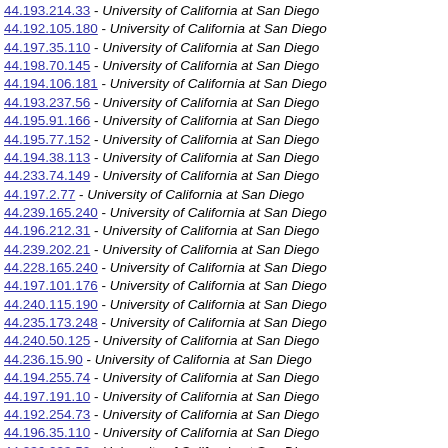44.193.214.33 - University of California at San Diego
44.192.105.180 - University of California at San Diego
44.197.35.110 - University of California at San Diego
44.198.70.145 - University of California at San Diego
44.194.106.181 - University of California at San Diego
44.193.237.56 - University of California at San Diego
44.195.91.166 - University of California at San Diego
44.195.77.152 - University of California at San Diego
44.194.38.113 - University of California at San Diego
44.233.74.149 - University of California at San Diego
44.197.2.77 - University of California at San Diego
44.239.165.240 - University of California at San Diego
44.196.212.31 - University of California at San Diego
44.239.202.21 - University of California at San Diego
44.228.165.240 - University of California at San Diego
44.197.101.176 - University of California at San Diego
44.240.115.190 - University of California at San Diego
44.235.173.248 - University of California at San Diego
44.240.50.125 - University of California at San Diego
44.236.15.90 - University of California at San Diego
44.194.255.74 - University of California at San Diego
44.197.191.10 - University of California at San Diego
44.192.254.73 - University of California at San Diego
44.196.35.110 - University of California at San Diego
44.236.233.52 - University of California at San Diego
44.238.41.116 - University of California at San Diego
44.196.202.21 - University of California at San Diego
44.197.252.71 - University of California at San Diego
44.195.222.41 - University of California at San Diego
44.229.149.224 - University of California at San Diego